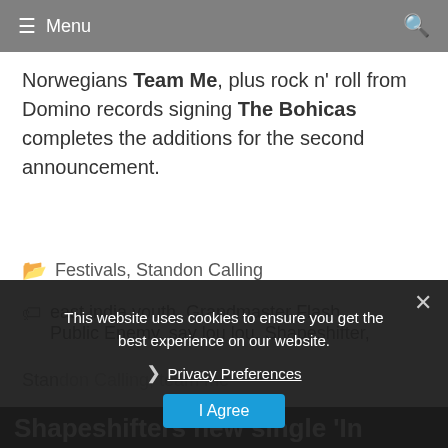Menu
Norwegians Team Me, plus rock n' roll from Domino records signing The Bohicas completes the additions for the second announcement.
Festivals, Standon Calling
east india youth, Grandmaster Flash, Public Enemy, say lou lou, Shapeshifter,
This website uses cookies to ensure you get the best experience on our website.
Privacy Preferences
I Agree
Shapeshifters new single 'In